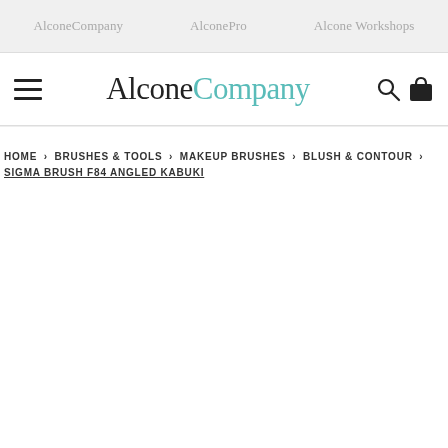AlconeCompany  AlconePro  Alcone Workshops
[Figure (logo): AlconeCompany logo with teal 'Company' text, hamburger menu icon on left, search and bag icons on right]
HOME > BRUSHES & TOOLS > MAKEUP BRUSHES > BLUSH & CONTOUR > SIGMA BRUSH F84 ANGLED KABUKI